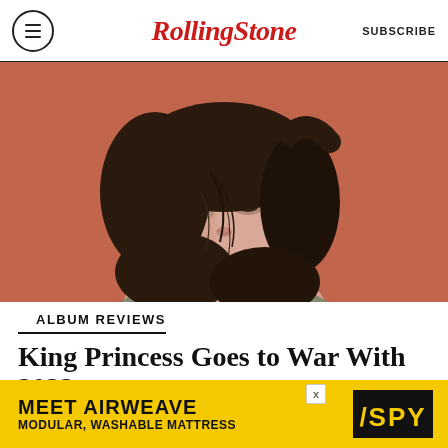Rolling Stone — SUBSCRIBE
[Figure (photo): Close-up portrait of a young person with dark curly/wavy hair blowing across their face, against a terracotta/rust-colored background. Subject wears a colorful top.]
ALBUM REVIEWS
King Princess Goes to War With 2022
[Figure (infographic): Advertisement banner with yellow background reading 'MEET AIRWEAVE' in large bold black text, subtitle 'MODULAR, WASHABLE MATTRESS', with SPY logo on right side in black diagonal stripe.]